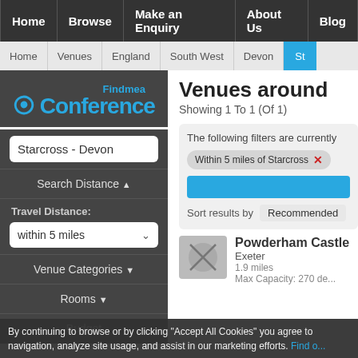Home | Browse | Make an Enquiry | About Us | Blog
Home > Venues > England > South West > Devon > St...
[Figure (logo): FindMeaConference logo — 'Findmea' in blue above 'Conference' in large blue text with location pin icon]
Starcross - Devon
Search Distance ▲
Travel Distance:
within 5 miles
Venue Categories ▼
Rooms ▼
Budget
Venues around
Showing 1 To 1 (Of 1)
The following filters are currently
Within 5 miles of Starcross ×
Sort results by   Recommended
Powderham Castle
Exeter
1.9 miles
Max Capacity: 270 de...
By continuing to browse or by clicking "Accept All Cookies" you agree to navigation, analyze site usage, and assist in our marketing efforts. Find o...